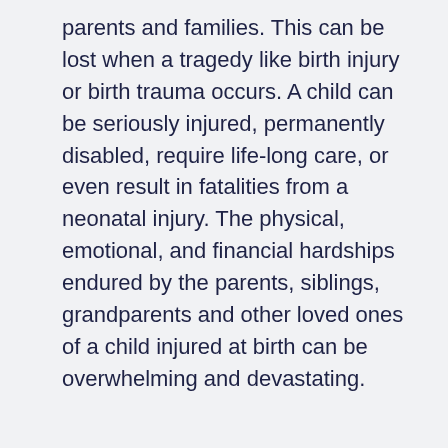parents and families. This can be lost when a tragedy like birth injury or birth trauma occurs. A child can be seriously injured, permanently disabled, require life-long care, or even result in fatalities from a neonatal injury. The physical, emotional, and financial hardships endured by the parents, siblings, grandparents and other loved ones of a child injured at birth can be overwhelming and devastating.